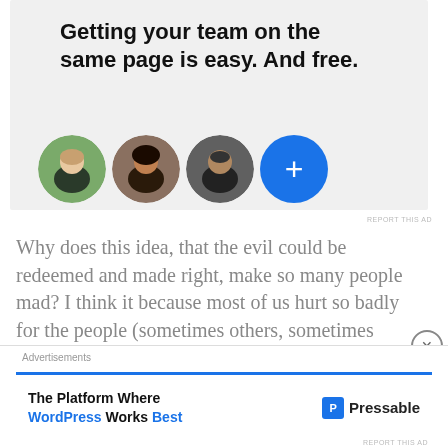[Figure (illustration): Advertisement banner with gray background showing bold headline text and four circular avatar photos/icons]
Getting your team on the same page is easy. And free.
Why does this idea, that the evil could be redeemed and made right, make so many people mad? I think it because most of us hurt so badly for the people (sometimes others, sometimes ourselves) that the evil have wronged that we just don't see how it is fair
[Figure (illustration): Bottom advertisement: The Platform Where WordPress Works Best — Pressable logo]
Advertisements
The Platform Where WordPress Works Best